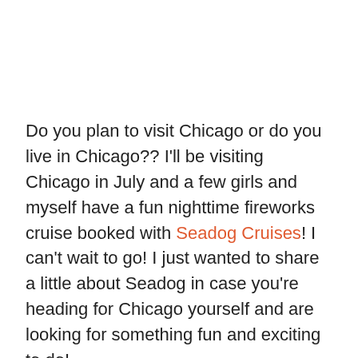Do you plan to visit Chicago or do you live in Chicago?? I'll be visiting Chicago in July and a few girls and myself have a fun nighttime fireworks cruise booked with Seadog Cruises! I can't wait to go! I just wanted to share a little about Seadog in case you're heading for Chicago yourself and are looking for something fun and exciting to do!
“Are you ready for an entertaining cruise experience along Chicago’s scenic lakefront? Come out to Navy Pier and let Seadog show you the city April-October, weather permitting.”